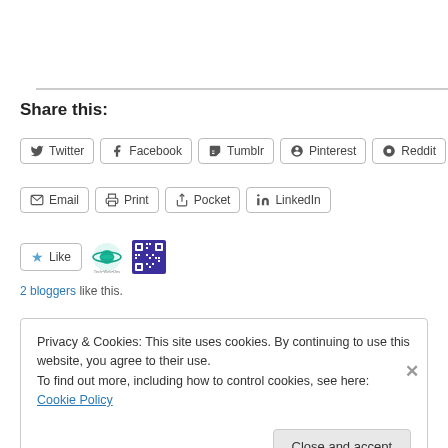Share this:
Twitter
Facebook
Tumblr
Pinterest
Reddit
Email
Print
Pocket
LinkedIn
[Figure (screenshot): Like button with star icon and two blogger avatars]
2 bloggers like this.
Privacy & Cookies: This site uses cookies. By continuing to use this website, you agree to their use.
To find out more, including how to control cookies, see here: Cookie Policy